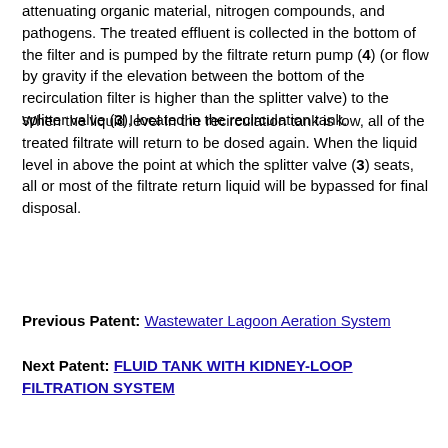attenuating organic material, nitrogen compounds, and pathogens. The treated effluent is collected in the bottom of the filter and is pumped by the filtrate return pump (4) (or flow by gravity if the elevation between the bottom of the recirculation filter is higher than the splitter valve) to the splitter valve (3), located in the recirculation tank.
When the liquid level in the recirculation tank is low, all of the treated filtrate will return to be dosed again. When the liquid level in above the point at which the splitter valve (3) seats, all or most of the filtrate return liquid will be bypassed for final disposal.
Previous Patent: Wastewater Lagoon Aeration System
Next Patent: FLUID TANK WITH KIDNEY-LOOP FILTRATION SYSTEM